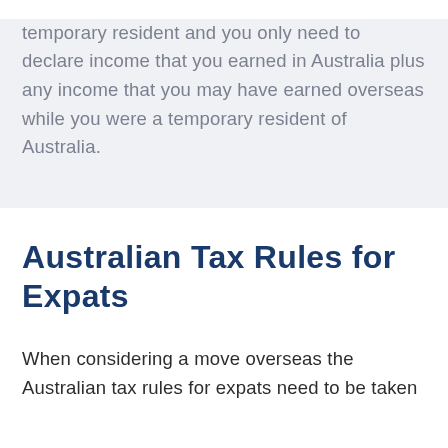temporary resident and you only need to declare income that you earned in Australia plus any income that you may have earned overseas while you were a temporary resident of Australia.
Australian Tax Rules for Expats
When considering a move overseas the Australian tax rules for expats need to be taken